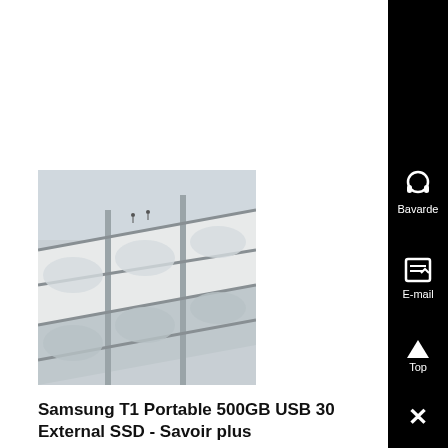[Figure (photo): Photo of what appears to be white industrial or architectural structures, possibly storage tanks or rooftop elements viewed from above at an angle.]
Samsung T1 Portable 500GB USB 30 External SSD - Savoir plus
SanDisk Extreme 500 , Oddly enough my T3 is now performing at the same speed as my T1 , Works as advertised the read write speed reaches advertised specs ....